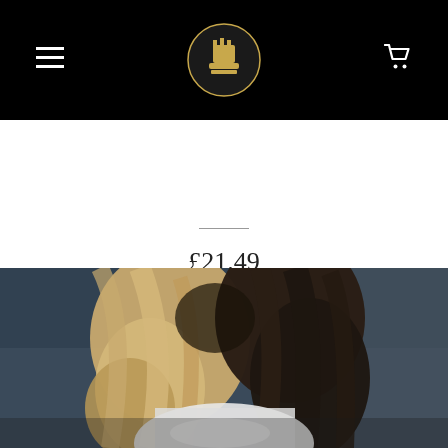Navigation bar with hamburger menu, logo, and cart icon
WET LEG 'WET LEG' LP
£21.49
[Figure (photo): Two people with long hair (one blonde, one dark) leaning together with heads touching, photographed from behind/side in a dimly lit blue-toned setting. One person wears a white top.]